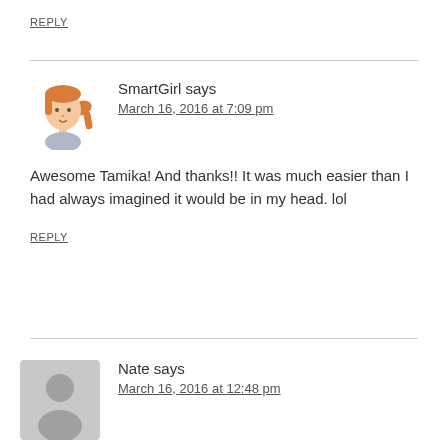REPLY
SmartGirl says
March 16, 2016 at 7:09 pm
Awesome Tamika! And thanks!! It was much easier than I had always imagined it would be in my head. lol
REPLY
Nate says
March 16, 2016 at 12:48 pm
New carpet has some nasty chemicals in